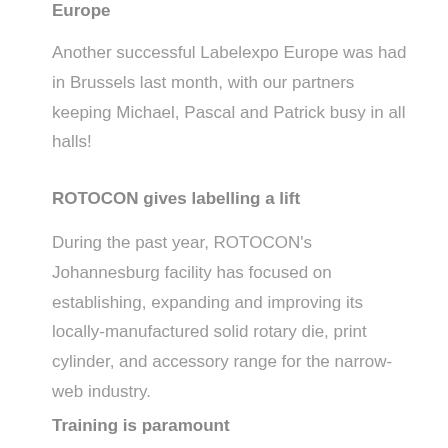Europe
Another successful Labelexpo Europe was had in Brussels last month, with our partners keeping Michael, Pascal and Patrick busy in all halls!
ROTOCON gives labelling a lift
During the past year, ROTOCON's Johannesburg facility has focused on establishing, expanding and improving its locally-manufactured solid rotary die, print cylinder, and accessory range for the narrow-web industry.
Training is paramount